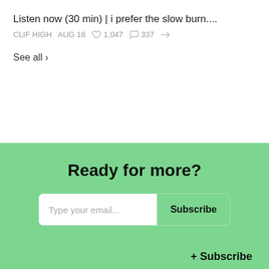Listen now (30 min) | i prefer the slow burn....
CLIF HIGH   AUG 18   ♡ 1,047   ○ 337   ⇢
See all ›
Ready for more?
Type your email...   Subscribe
+ Subscribe